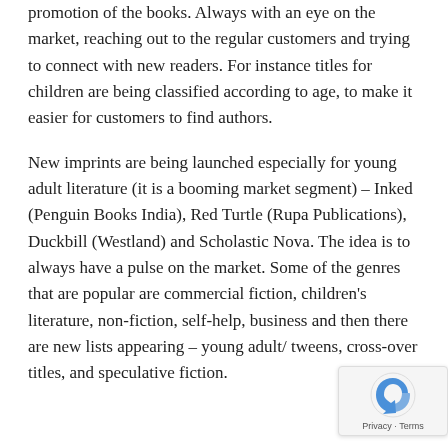promotion of the books. Always with an eye on the market, reaching out to the regular customers and trying to connect with new readers. For instance titles for children are being classified according to age, to make it easier for customers to find authors.
New imprints are being launched especially for young adult literature (it is a booming market segment) – Inked (Penguin Books India), Red Turtle (Rupa Publications), Duckbill (Westland) and Scholastic Nova. The idea is to always have a pulse on the market. Some of the genres that are popular are commercial fiction, children's literature, non-fiction, self-help, business and then there are new lists appearing – young adult/ tweens, cross-over titles, and speculative fiction.